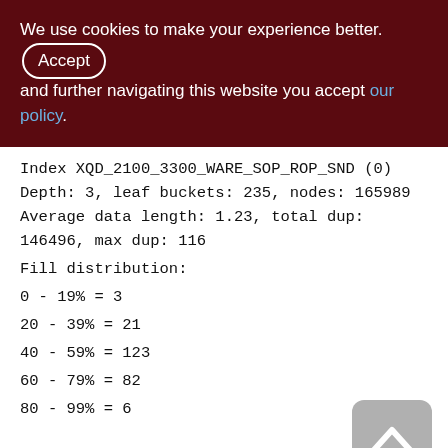We use cookies to make your experience better. By accepting and further navigating this website you accept our policy.
Index XQD_2100_3300_WARE_SOP_ROP_SND (0)
Depth: 3, leaf buckets: 235, nodes: 165989
Average data length: 1.23, total dup:
146496, max dup: 116
Fill distribution:
0 - 19% = 3
20 - 39% = 21
40 - 59% = 123
60 - 79% = 82
80 - 99% = 6
XQD_3300_3400 (263)